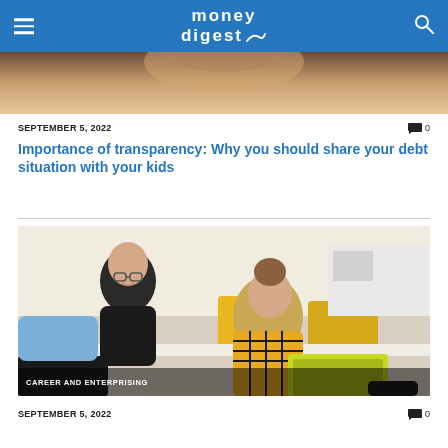money digest
[Figure (photo): Cropped photo of a person, top portion visible, warm tones]
SEPTEMBER 5, 2022   💬 0
Importance of transparency: Why you should share your debt situation with your kids
[Figure (photo): Two people at a table working together; man in black shirt smiling, woman in yellow plaid shirt looking at a yellow laptop. Office setting with yellow chairs. Label: CAREER AND ENTERPRISING]
SEPTEMBER 5, 2022   💬 0